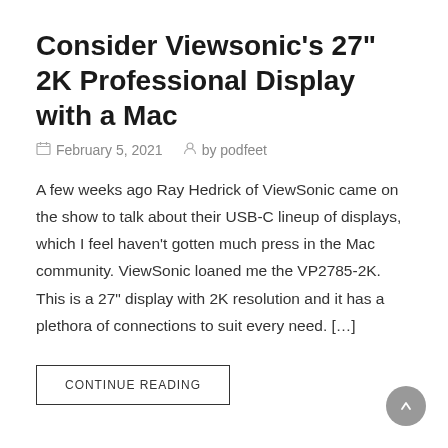Consider Viewsonic's 27" 2K Professional Display with a Mac
February 5, 2021   by podfeet
A few weeks ago Ray Hedrick of ViewSonic came on the show to talk about their USB-C lineup of displays, which I feel haven't gotten much press in the Mac community. ViewSonic loaned me the VP2785-2K. This is a 27" display with 2K resolution and it has a plethora of connections to suit every need. […]
CONTINUE READING